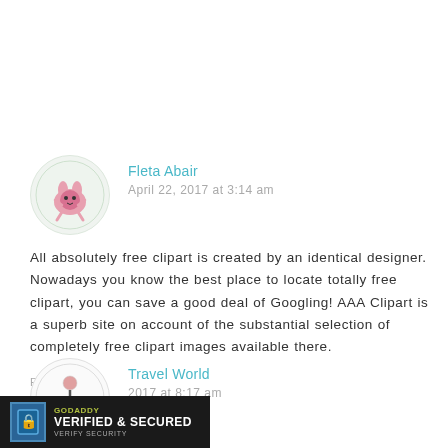Fleta Abair
April 22, 2017 at 3:14 am
All absolutely free clipart is created by an identical designer. Nowadays you know the best place to locate totally free clipart, you can save a good deal of Googling! AAA Clipart is a superb site on account of the substantial selection of completely free clipart images available there.
REPLY
Travel World
2017 at 8:17 am